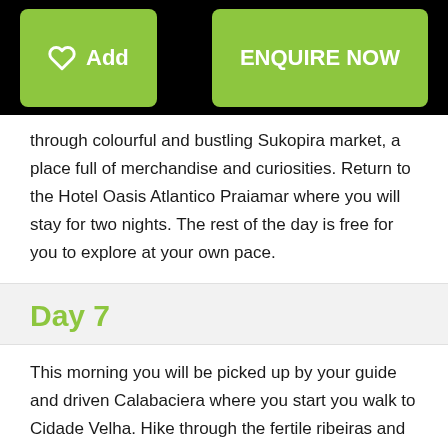[Figure (screenshot): Top navigation bar with black background containing a green 'Add' button with heart icon on the left and a green 'ENQUIRE NOW' button on the right]
through colourful and bustling Sukopira market, a place full of merchandise and curiosities. Return to the Hotel Oasis Atlantico Praiamar where you will stay for two nights. The rest of the day is free for you to explore at your own pace.
Day 7
This morning you will be picked up by your guide and driven Calabaciera where you start you walk to Cidade Velha. Hike through the fertile ribeiras and sugar cane fields to Cidade Velha in around three hours, where you also have your lunch. Your guide will then take you on a historical stroll to Rua